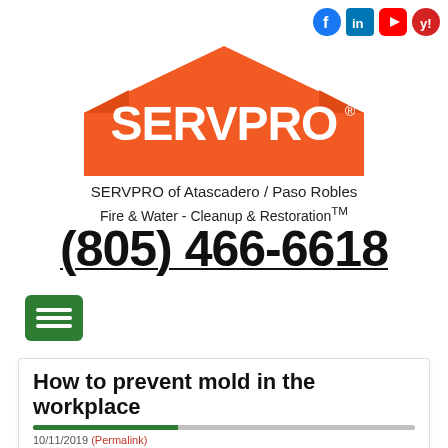[Figure (logo): SERVPRO orange house-shaped logo with SERVPRO text in white]
SERVPRO of Atascadero / Paso Robles
Fire & Water - Cleanup & Restoration™
(805) 466-6618
[Figure (other): Green hamburger menu button with three white lines]
How to prevent mold in the workplace
10/11/2019 (Permalink)